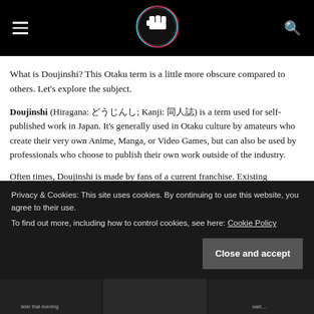[hamburger menu] [logo] [search icon]
What is Doujinshi? This Otaku term is a little more obscure compared to others. Let's explore the subject.
Doujinshi (Hiragana: どうじんし; Kanji: 同人誌) is a term used for self-published work in Japan. It's generally used in Otaku culture by amateurs who create their very own Anime, Manga, or Video Games, but can also be used by professionals who choose to publish their own work outside of the industry.
Often times, Doujinshi is made by fans of a current franchise. Existing characters from a series are used, but a brand new story
Privacy & Cookies: This site uses cookies. By continuing to use this website, you agree to their use.
To find out more, including how to control cookies, see here: Cookie Policy
Close and accept